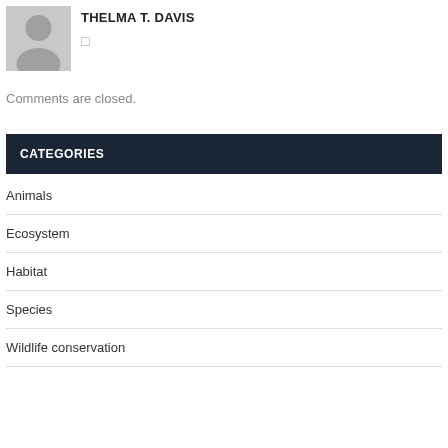[Figure (photo): Gray placeholder avatar silhouette image]
THELMA T. DAVIS
□
Comments are closed.
CATEGORIES
Animals
Ecosystem
Habitat
Species
Wildlife conservation